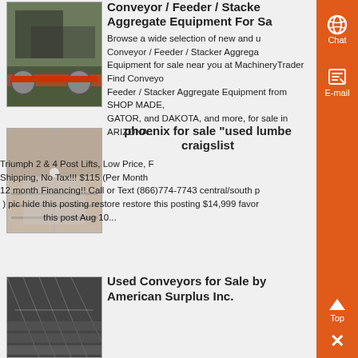[Figure (photo): Industrial equipment photo - conveyor feeder stacker aggregate]
Conveyor / Feeder / Stacker Aggregate Equipment For Sale
Browse a wide selection of new and used Conveyor / Feeder / Stacker Aggregate Equipment for sale near you at MachineryTrader Find Conveyor / Feeder / Stacker Aggregate Equipment from SHOP MADE, GATOR, and DAKOTA, and more, for sale in ARIZONA...
[Figure (photo): CNC laser cutting machine photo]
phoenix for sale "used lumber" craigslist
Triumph 2 & 4 Post Lifts, Low Price, Free Shipping, No Tax!!! $115 (Per Month 12 month Financing!! Call or Text (866)774-7743 central/south ) pic hide this posting restore restore this posting $14,999 favorite this post Aug 10...
[Figure (photo): Warehouse with conveyors photo]
Used Conveyors for Sale by American Surplus Inc.